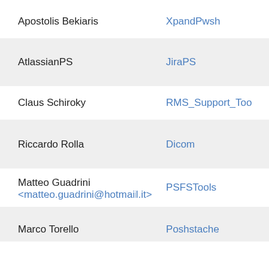Apostolis Bekiaris
XpandPwsh
AtlassianPS
JiraPS
Claus Schiroky
RMS_Support_Too
Riccardo Rolla
Dicom
Matteo Guadrini
<matteo.guadrini@hotmail.it>
PSFSTools
Marco Torello
Poshstache